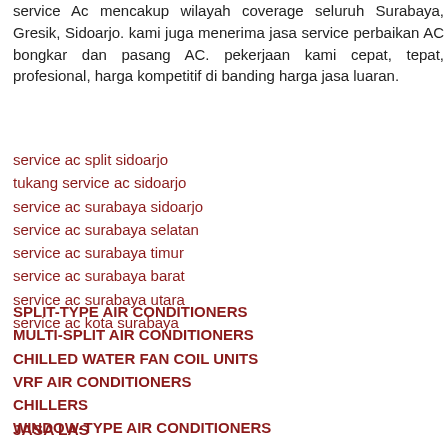service Ac mencakup wilayah coverage seluruh Surabaya, Gresik, Sidoarjo. kami juga menerima jasa service perbaikan AC bongkar dan pasang AC. pekerjaan kami cepat, tepat, profesional, harga kompetitif di banding harga jasa luaran.
service ac split sidoarjo
tukang service ac sidoarjo
service ac surabaya sidoarjo
service ac surabaya selatan
service ac surabaya timur
service ac surabaya barat
service ac surabaya utara
service ac kota surabaya
SPLIT-TYPE AIR CONDITIONERS
MULTI-SPLIT AIR CONDITIONERS
CHILLED WATER FAN COIL UNITS
VRF AIR CONDITIONERS
CHILLERS
WINDOW-TYPE AIR CONDITIONERS
JASA LAS